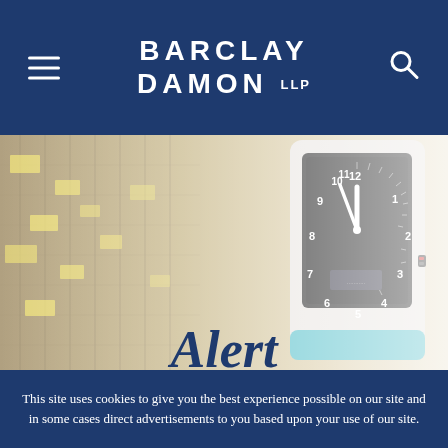BARCLAY DAMON LLP
[Figure (photo): Close-up photo of a mechanical time clock with a black face and white numerals, showing approximately 12:55, mounted on a wall with time cards or file folders visible in the background.]
Alert
This site uses cookies to give you the best experience possible on our site and in some cases direct advertisements to you based upon your use of our site.